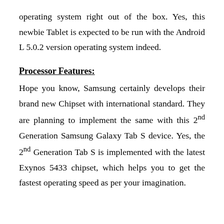operating system right out of the box. Yes, this newbie Tablet is expected to be run with the Android L 5.0.2 version operating system indeed.
Processor Features:
Hope you know, Samsung certainly develops their brand new Chipset with international standard. They are planning to implement the same with this 2nd Generation Samsung Galaxy Tab S device. Yes, the 2nd Generation Tab S is implemented with the latest Exynos 5433 chipset, which helps you to get the fastest operating speed as per your imagination.